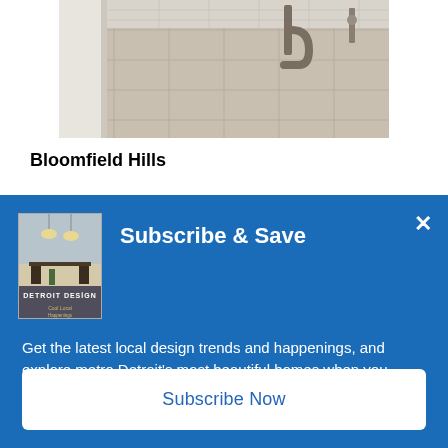[Figure (photo): Partial bathroom photo showing tile floor and plumbing pipes beneath a vanity, cropped at top]
Bloomfield Hills
[Figure (screenshot): Blue modal overlay: Subscribe & Save popup for Detroit Design magazine. Shows magazine cover, headline 'Subscribe & Save', body text about local design trends and homes, and a 'Subscribe Now' button.]